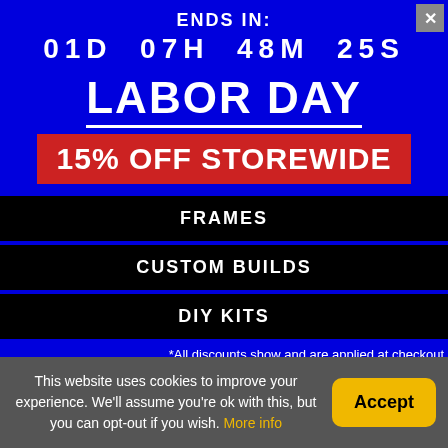ENDS IN:
01D  07H  48M  25S
LABOR DAY
15% OFF STOREWIDE
FRAMES
CUSTOM BUILDS
DIY KITS
*All discounts show and are applied at checkout
Marmotte
This website uses cookies to improve your experience. We'll assume you're ok with this, but you can opt-out if you wish. More info